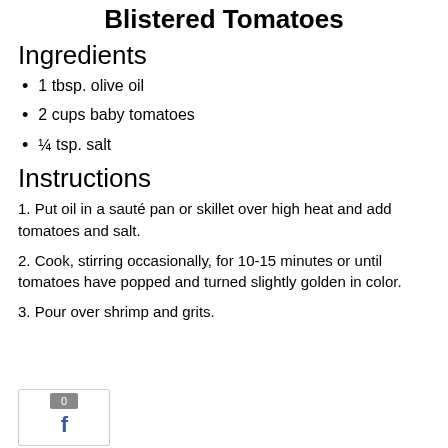Blistered Tomatoes
Ingredients
1 tbsp. olive oil
2 cups baby tomatoes
¼ tsp. salt
Instructions
1. Put oil in a sauté pan or skillet over high heat and add tomatoes and salt.
2. Cook, stirring occasionally, for 10-15 minutes or until tomatoes have popped and turned slightly golden in color.
3. Pour over shrimp and grits.